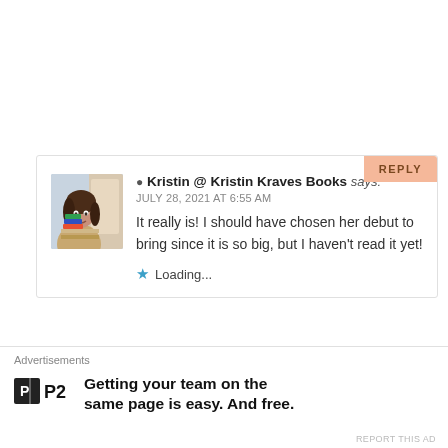[Figure (screenshot): Comment section showing a reply from Kristin @ Kristin Kraves Books dated July 28, 2021 at 6:55 AM with avatar photo and loading indicator]
Kristin @ Kristin Kraves Books says: JULY 28, 2021 AT 6:55 AM It really is! I should have chosen her debut to bring since it is so big, but I haven't read it yet! Loading...
Advertisements Getting your team on the same page is easy. And free.